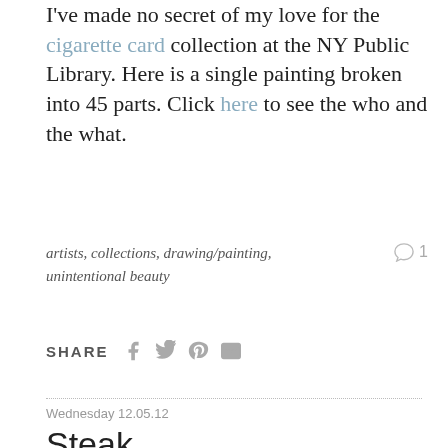I've made no secret of my love for the cigarette card collection at the NY Public Library. Here is a single painting broken into 45 parts. Click here to see the who and the what.
artists, collections, drawing/painting, unintentional beauty
1 comment
SHARE
Wednesday 12.05.12
Steak
[Figure (photo): A raw steak photographed on a dark black background, showing red meat with marbling.]